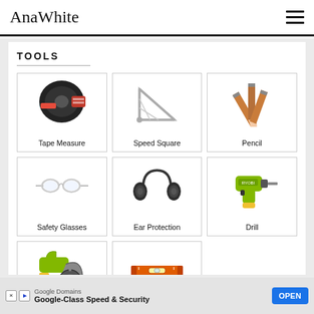AnaWhite
TOOLS
[Figure (illustration): Grid of tool icons: Tape Measure, Speed Square, Pencil, Safety Glasses, Ear Protection, Drill, Circular Saw, Level]
Google Domains — Google-Class Speed & Security — OPEN